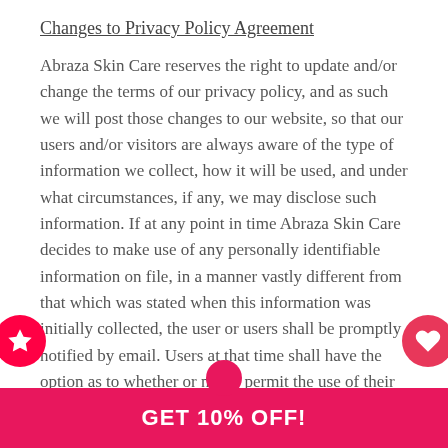Changes to Privacy Policy Agreement
Abraza Skin Care reserves the right to update and/or change the terms of our privacy policy, and as such we will post those changes to our website, so that our users and/or visitors are always aware of the type of information we collect, how it will be used, and under what circumstances, if any, we may disclose such information. If at any point in time Abraza Skin Care decides to make use of any personally identifiable information on file, in a manner vastly different from that which was stated when this information was initially collected, the user or users shall be promptly notified by email. Users at that time shall have the option as to whether or not to permit the use of their information in this separate manner.
Acceptance of Terms
Through the use of this website, you are hereby accepting the